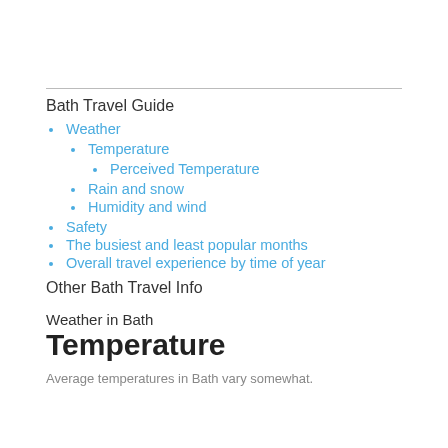Bath Travel Guide
Weather
Temperature
Perceived Temperature
Rain and snow
Humidity and wind
Safety
The busiest and least popular months
Overall travel experience by time of year
Other Bath Travel Info
Weather in Bath
Temperature
Average temperatures in Bath vary somewhat.